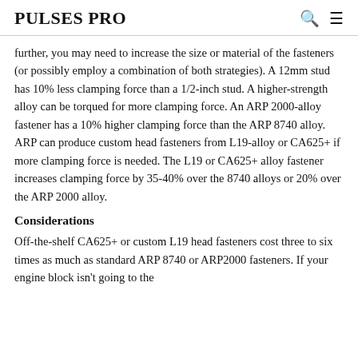PULSES PRO
further, you may need to increase the size or material of the fasteners (or possibly employ a combination of both strategies). A 12mm stud has 10% less clamping force than a 1/2-inch stud. A higher-strength alloy can be torqued for more clamping force. An ARP 2000-alloy fastener has a 10% higher clamping force than the ARP 8740 alloy. ARP can produce custom head fasteners from L19-alloy or CA625+ if more clamping force is needed. The L19 or CA625+ alloy fastener increases clamping force by 35-40% over the 8740 alloys or 20% over the ARP 2000 alloy.
Considerations
Off-the-shelf CA625+ or custom L19 head fasteners cost three to six times as much as standard ARP 8740 or ARP2000 fasteners. If your engine block isn't going to the